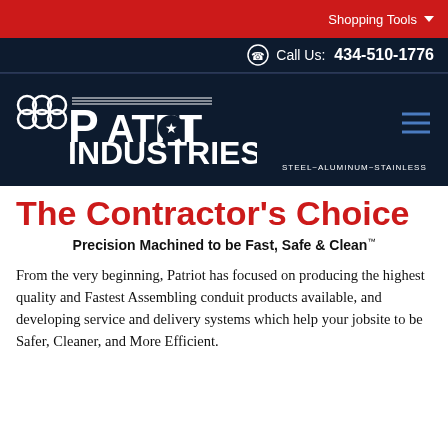Shopping Tools
Call Us: 434-510-1776
[Figure (logo): Patriot Industries logo — steel/aluminum/stainless — white text on dark navy background with decorative ring icon]
The Contractor's Choice
Precision Machined to be Fast, Safe & Clean™
From the very beginning, Patriot has focused on producing the highest quality and Fastest Assembling conduit products available, and developing service and delivery systems which help your jobsite to be Safer, Cleaner, and More Efficient.